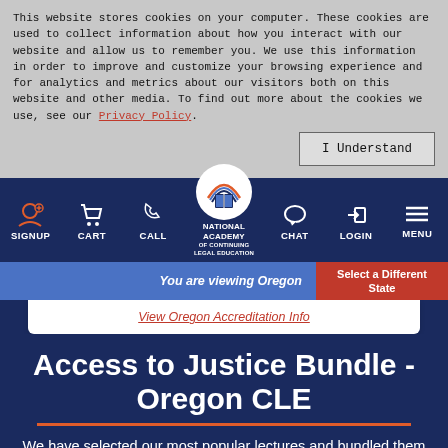This website stores cookies on your computer. These cookies are used to collect information about how you interact with our website and allow us to remember you. We use this information in order to improve and customize your browsing experience and for analytics and metrics about our visitors both on this website and other media. To find out more about the cookies we use, see our Privacy Policy.
[Figure (screenshot): Navigation bar with SIGNUP, CART, CALL, National Academy of Continuing Legal Education logo, CHAT, LOGIN, MENU icons on dark blue background]
You are viewing Oregon
Select a Different State
View Oregon Accreditation Info
Access to Justice Bundle - Oregon CLE
We have selected our most popular lectures and bundled them together into our Access to Justice